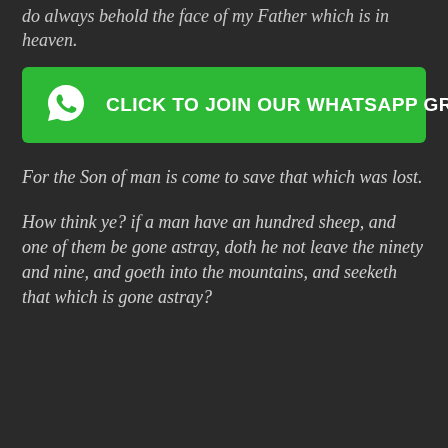do always behold the face of my Father which is in heaven.
[Figure (infographic): Green WhatsApp button with phone icon and text 'CLICK TO JOIN OUR WHATSAPP GROUP']
For the Son of man is come to save that which was lost.
How think ye? if a man have an hundred sheep, and one of them be gone astray, doth he not leave the ninety and nine, and goeth into the mountains, and seeketh that which is gone astray?